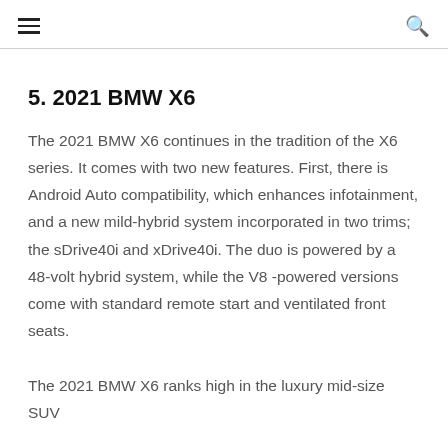≡  🔍
5. 2021 BMW X6
The 2021 BMW X6 continues in the tradition of the X6 series. It comes with two new features. First, there is Android Auto compatibility, which enhances infotainment, and a new mild-hybrid system incorporated in two trims; the sDrive40i and xDrive40i. The duo is powered by a 48-volt hybrid system, while the V8 -powered versions come with standard remote start and ventilated front seats.
The 2021 BMW X6 ranks high in the luxury mid-size SUV